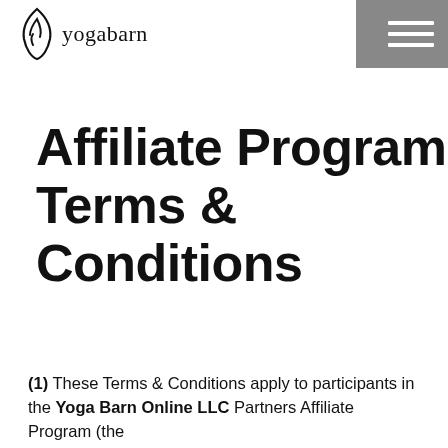yogabarn
Affiliate Program Terms & Conditions
(1) These Terms & Conditions apply to participants in the Yoga Barn Online LLC Partners Affiliate Program (the